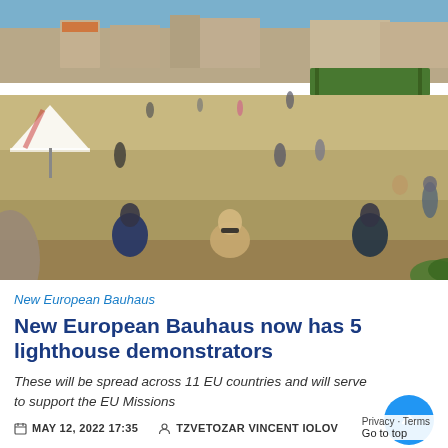[Figure (photo): Aerial/elevated view of a European town plaza/square with people sitting and walking, a white tent on the left, a green shade structure on the right, historic buildings in the background under a blue sky.]
New European Bauhaus
New European Bauhaus now has 5 lighthouse demonstrators
These will be spread across 11 EU countries and will serve to support the EU Missions
MAY 12, 2022 17:35   TZVETOZAR VINCENT IOLOV